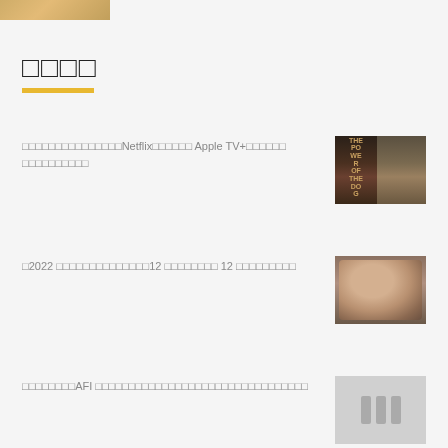[Figure (photo): Partial image at top of page, warm golden-brown tones]
□□□□
□□□□□□□□□□□□□□□Netflix□□□□□□ Apple TV+□□□□□□ □□□□□□□□□□
[Figure (photo): Movie poster collage - Power of the Dog style; dark moody tones with text overlay and a group photo]
□2022 □□□□□□□□□□□□□□12 □□□□□□□□ 12 □□□□□□□□□
[Figure (photo): Man smiling, wearing dark jacket, outdoors]
□□□□□□□□AFI □□□□□□□□□□□□□□□□□□□□□□□□□□□□□□□□
[Figure (photo): Placeholder image with pause/loading icon on grey background]